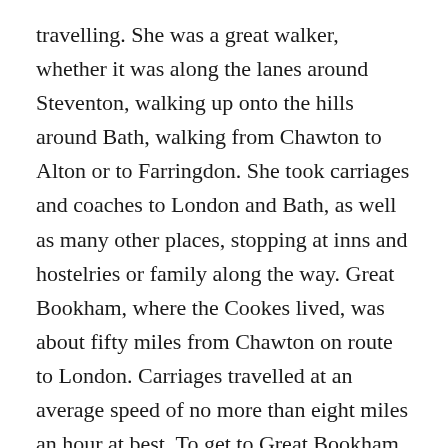travelling. She was a great walker, whether it was along the lanes around Steventon, walking up onto the hills around Bath, walking from Chawton to Alton or to Farringdon. She took carriages and coaches to London and Bath, as well as many other places, stopping at inns and hostelries or family along the way. Great Bookham, where the Cookes lived, was about fifty miles from Chawton on route to London. Carriages travelled at an average speed of no more than eight miles an hour at best. To get to Great Bookham took Jane Austen and her family about five hours from either Steventon or Chawton. The countryside was beautiful, especially in summer when birds and wild life and wild flowers were seen in abundance. It occurs to me that Jane Austen would have been a great traveller, and she